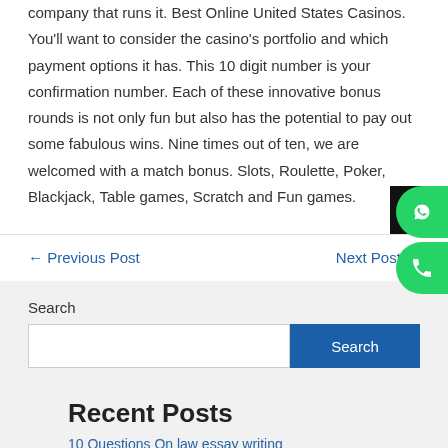company that runs it. Best Online United States Casinos. You'll want to consider the casino's portfolio and which payment options it has. This 10 digit number is your confirmation number. Each of these innovative bonus rounds is not only fun but also has the potential to pay out some fabulous wins. Nine times out of ten, we are welcomed with a match bonus. Slots, Roulette, Poker, Blackjack, Table games, Scratch and Fun games.
← Previous Post
Next Post →
Search
Recent Posts
10 Questions On law essay writing